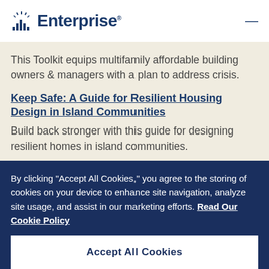Enterprise
This Toolkit equips multifamily affordable building owners & managers with a plan to address crisis.
Keep Safe: A Guide for Resilient Housing Design in Island Communities
Build back stronger with this guide for designing resilient homes in island communities.
By clicking "Accept All Cookies," you agree to the storing of cookies on your device to enhance site navigation, analyze site usage, and assist in our marketing efforts. Read Our Cookie Policy
Accept All Cookies